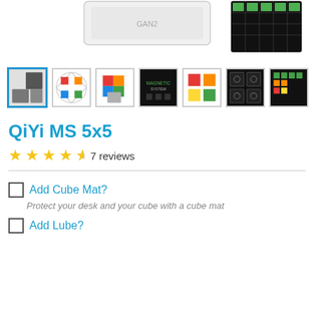[Figure (photo): Product images of QiYi MS 5x5 Rubik's cube variants shown at top of page, partially cropped]
[Figure (photo): Thumbnail gallery row showing 7 product images of QiYi MS 5x5 cube from different angles, first thumbnail selected with blue border]
QiYi MS 5x5
7 reviews
Add Cube Mat?
Protect your desk and your cube with a cube mat
Add Lube?